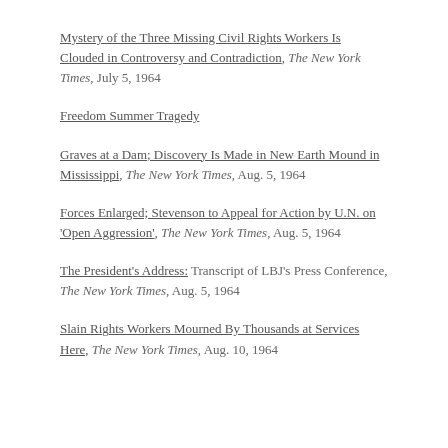Mystery of the Three Missing Civil Rights Workers Is Clouded in Controversy and Contradiction, The New York Times, July 5, 1964
Freedom Summer Tragedy
Graves at a Dam; Discovery Is Made in New Earth Mound in Mississippi, The New York Times, Aug. 5, 1964
Forces Enlarged; Stevenson to Appeal for Action by U.N. on 'Open Aggression', The New York Times, Aug. 5, 1964
The President's Address: Transcript of LBJ's Press Conference, The New York Times, Aug. 5, 1964
Slain Rights Workers Mourned By Thousands at Services Here, The New York Times, Aug. 10, 1964